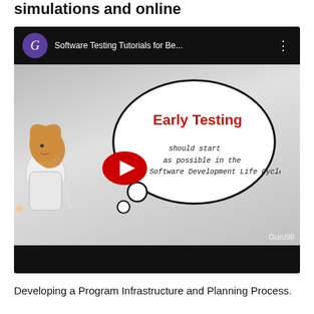simulations and online
[Figure (screenshot): YouTube video thumbnail showing 'Software Testing Tutorials for Be...' with a thought bubble containing 'Early Testing' in red and text 'should start as possible in the Software Development Life Cycle', with a YouTube play button overlay and a cartoon female figure. Channel icon shows letter G on purple circle. Watermark reads Guru99.]
Developing a Program Infrastructure and Planning Process.